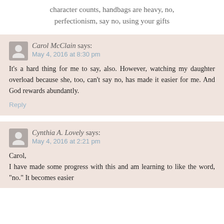character counts, handbags are heavy, no, perfectionism, say no, using your gifts
Carol McClain says:
May 4, 2016 at 8:30 pm

It's a hard thing for me to say, also. However, watching my daughter overload because she, too, can't say no, has made it easier for me. And God rewards abundantly.

Reply
Cynthia A. Lovely says:
May 4, 2016 at 2:21 pm

Carol,
I have made some progress with this and am learning to like the word, "no." It becomes easier